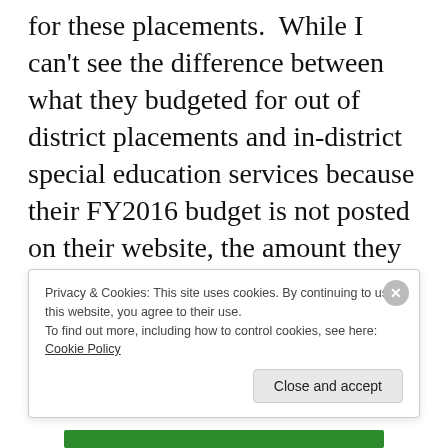What they spent in FY2016 was $2,878,582 for these placements.  While I can't see the difference between what they budgeted for out of district placements and in-district special education services because their FY2016 budget is not posted on their website, the amount they paid in out of district placements is more than they budgeted for the entire category.  As a side-note, their website
Privacy & Cookies: This site uses cookies. By continuing to use this website, you agree to their use.
To find out more, including how to control cookies, see here: Cookie Policy